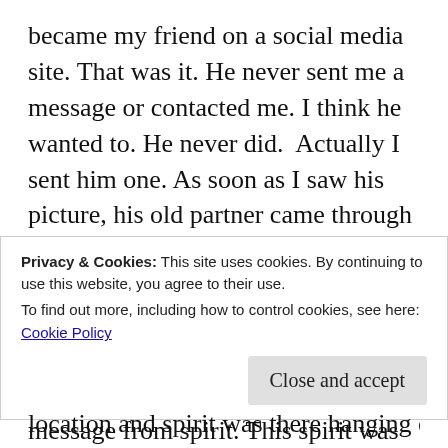became my friend on a social media site. That was it. He never sent me a message or contacted me. I think he wanted to. He never did.  Actually I sent him one. As soon as I saw his picture, his old partner came through and he wanted me to contact him because he had something to say.
So I did
If I contact someone it is to deliver a message from spirit. This spirit was his former partner who took his life. He had to get his message known. So I persisted and
Privacy & Cookies: This site uses cookies. By continuing to use this website, you agree to their use.
To find out more, including how to control cookies, see here:
Cookie Policy
Close and accept
location and spirit was there hanging onto my shoulder